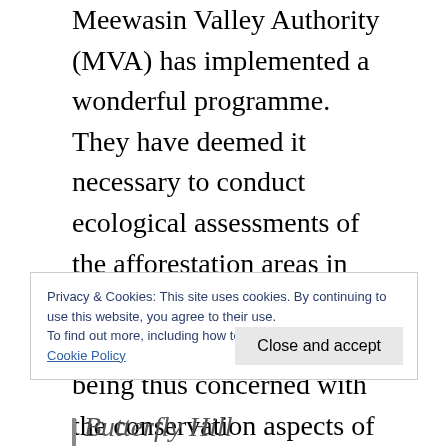Meewasin Valley Authority (MVA) has implemented a wonderful programme.  They have deemed it necessary to conduct ecological assessments of the afforestation areas in regards to the master plan.  With such foresight, and being thus concerned with the conservation aspects of endangered species, the Small yellow Lady's Slipper which was found on two different years in the afforestation area, may, indeed have a home in which to thrive, helping this orchid succeed
Privacy & Cookies: This site uses cookies. By continuing to use this website, you agree to their use.
To find out more, including how to control cookies, see here:
Cookie Policy
Butterfly Hill